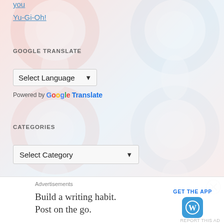you
Yu-Gi-Oh!
GOOGLE TRANSLATE
Select Language
Powered by Google Translate
CATEGORIES
Select Category
Advertisements
Build a writing habit. Post on the go.
GET THE APP